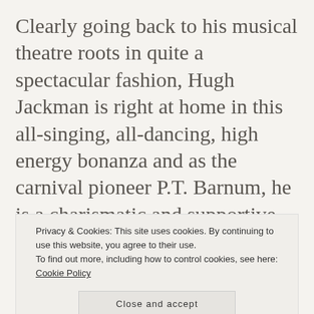Clearly going back to his musical theatre roots in quite a spectacular fashion, Hugh Jackman is right at home in this all-singing, all-dancing, high energy bonanza and as the carnival pioneer P.T. Barnum, he is a charismatic and supportive lead and Jackman really looks like he's having the time of his life, singing the songs very well and showing off some perfect dance moves. The rest of the cast also perform admirably, so many of them
Privacy & Cookies: This site uses cookies. By continuing to use this website, you agree to their use.
To find out more, including how to control cookies, see here: Cookie Policy
Close and accept
highlight. Michelle Williams has her fair share